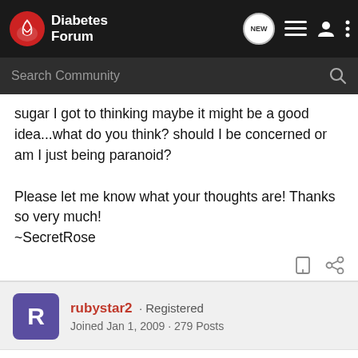Diabetes Forum
sugar I got to thinking maybe it might be a good idea...what do you think? should I be concerned or am I just being paranoid?

Please let me know what your thoughts are! Thanks so very much!
~SecretRose
rubystar2 · Registered
Joined Jan 1, 2009 · 279 Posts
#2 · Feb 10, 2009
You are not being paranoid. IT is so much better to know if you